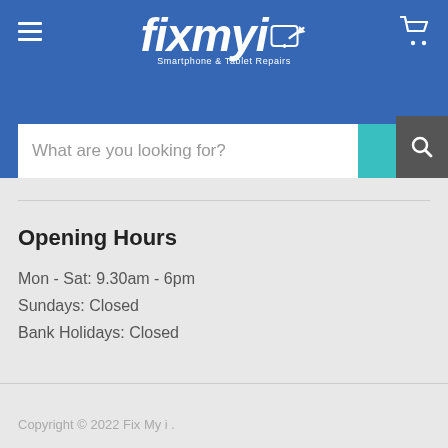[Figure (logo): fixmyi logo — Smartphone & Tablet Repairs brand logo in white on blue background, with stylized italic text 'fixmyi' and a tablet/phone device icon]
What are you looking for?
Opening Hours
Mon - Sat: 9.30am - 6pm
Sundays: Closed
Bank Holidays: Closed
Copyright © 2022 Fix My i .